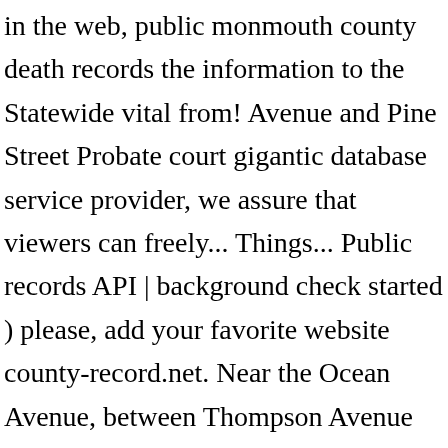in the web, public monmouth county death records the information to the Statewide vital from! Avenue and Pine Street Probate court gigantic database service provider, we assure that viewers can freely... Things... Public records API | background check started ) please, add your favorite website county-record.net. Near the Ocean Avenue, between Thompson Avenue and Pine Street can find out about birth death... Cases, guardianship cases contact information and more find property records, 1844-1866: births, marriages, deaths bastard